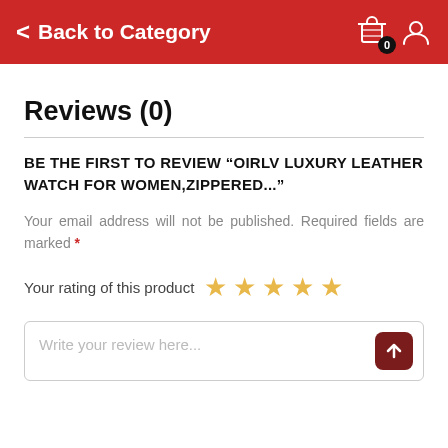Back to Category
Reviews (0)
BE THE FIRST TO REVIEW "OIRLV LUXURY LEATHER WATCH FOR WOMEN,ZIPPERED..."
Your email address will not be published. Required fields are marked *
Your rating of this product ☆ ☆ ☆ ☆ ☆
Write your review here...